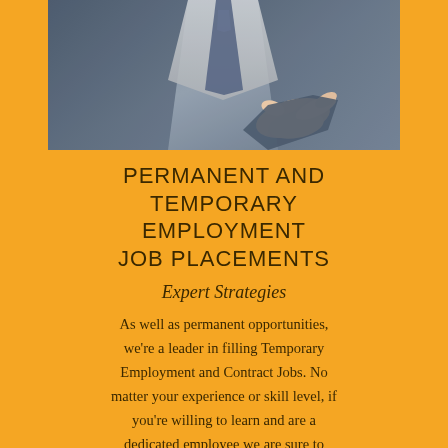[Figure (photo): A person in a business suit extending their hand, suggesting a handshake or professional greeting. The image is cropped showing the torso and hand area.]
PERMANENT AND TEMPORARY EMPLOYMENT JOB PLACEMENTS
Expert Strategies
As well as permanent opportunities, we're a leader in filling Temporary Employment and Contract Jobs. No matter your experience or skill level, if you're willing to learn and are a dedicated employee we are sure to